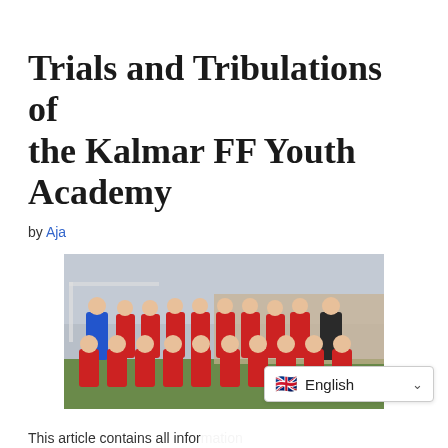Trials and Tribulations of the Kalmar FF Youth Academy
by Aja
[Figure (photo): Team photo of youth football players in red uniforms posing on a grass field in two rows, with coaches at the sides. Cloudy outdoor setting with a brick wall in the background.]
This article contains all infor…